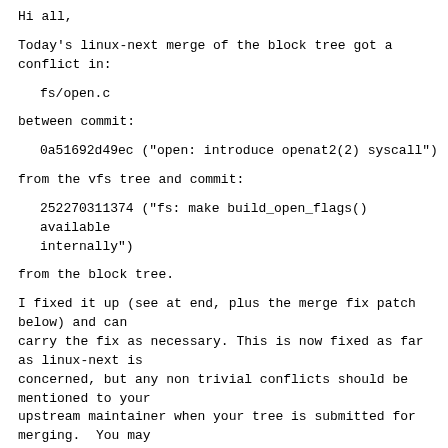Hi all,
Today's linux-next merge of the block tree got a conflict in:
fs/open.c
between commit:
0a51692d49ec ("open: introduce openat2(2) syscall")
from the vfs tree and commit:
252270311374 ("fs: make build_open_flags() available internally")
from the block tree.
I fixed it up (see at end, plus the merge fix patch below) and can
carry the fix as necessary. This is now fixed as far as linux-next is
concerned, but any non trivial conflicts should be mentioned to your
upstream maintainer when your tree is submitted for merging.  You may
also want to consider cooperating with the maintainer of the
conflicting tree to minimise any particularly complex conflicts.